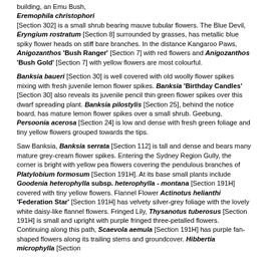building, an Emu Bush, Eremophila christophori [Section 302] is a small shrub bearing mauve tubular flowers. The Blue Devil, Eryngium rostratum [Section 8] surrounded by grasses, has metallic blue spiky flower heads on stiff bare branches. In the distance Kangaroo Paws, Anigozanthos 'Bush Ranger' [Section 7] with red flowers and Anigozanthos 'Bush Gold' [Section 7] with yellow flowers are most colourful.
Banksia baueri [Section 30] is well covered with old woolly flower spikes mixing with fresh juvenile lemon flower spikes. Banksia 'Birthday Candles' [Section 30] also reveals its juvenile pencil thin green flower spikes over this dwarf spreading plant. Banksia pilostylis [Section 25], behind the notice board, has mature lemon flower spikes over a small shrub. Geebung, Persoonia acerosa [Section 24] is low and dense with fresh green foliage and tiny yellow flowers grouped towards the tips.
Saw Banksia, Banksia serrata [Section 112] is tall and dense and bears many mature grey-cream flower spikes. Entering the Sydney Region Gully, the corner is bright with yellow pea flowers covering the pendulous branches of Platylobium formosum [Section 191H]. At its base small plants include Goodenia heterophylla subsp. heterophylla - montana [Section 191H] covered with tiny yellow flowers. Flannel Flower Actinotus helianthi 'Federation Star' [Section 191H] has velvety silver-grey foliage with the lovely white daisy-like flannel flowers. Fringed Lily, Thysanotus tuberosus [Section 191H] is small and upright with purple fringed three-petalled flowers. Continuing along this path, Scaevola aemula [Section 191H] has purple fan-shaped flowers along its trailing stems and groundcover. Hibbertia microphylla [Section